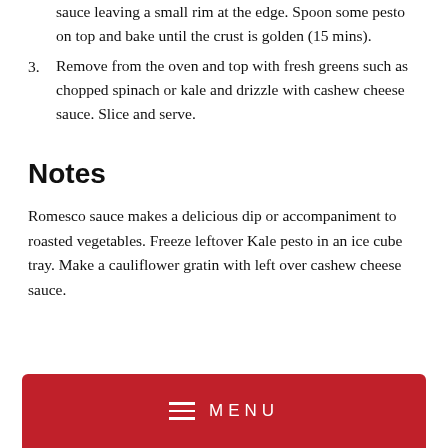sauce leaving a small rim at the edge. Spoon some pesto on top and bake until the crust is golden (15 mins).
3. Remove from the oven and top with fresh greens such as chopped spinach or kale and drizzle with cashew cheese sauce. Slice and serve.
Notes
Romesco sauce makes a delicious dip or accompaniment to roasted vegetables. Freeze leftover Kale pesto in an ice cube tray. Make a cauliflower gratin with left over cashew cheese sauce.
MENU